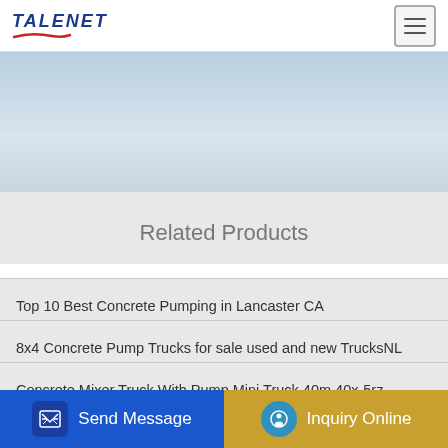TALENET
[Figure (illustration): Banner/hero image area with blue-grey gradient background representing a website banner]
Related Products
Top 10 Best Concrete Pumping in Lancaster CA
8x4 Concrete Pump Trucks for sale used and new TrucksNL
Concrete Mixer Truck With Pump Mini Truck 40m 40x-5rz
Steveo s concrete pumping Queensland 61415513557